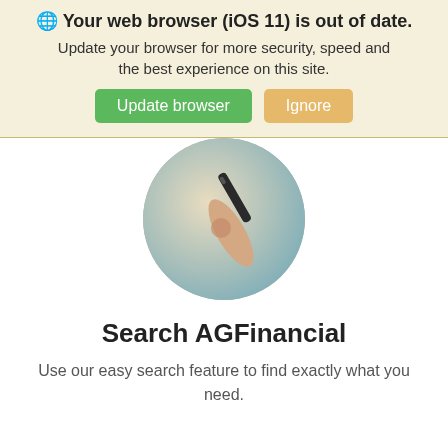🌐 Your web browser (iOS 11) is out of date. Update your browser for more security, speed and the best experience on this site.
[Figure (screenshot): Browser update banner with Update browser (green) and Ignore (tan) buttons]
[Figure (photo): Circular cropped photo of a hand holding a pen/stylus with a blurred background]
Search AGFinancial
Use our easy search feature to find exactly what you need.